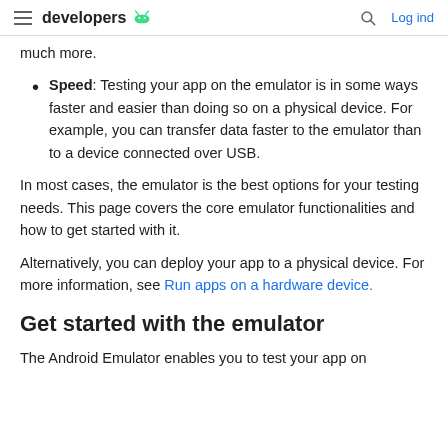developers [android logo] | [search] Log ind
much more.
Speed: Testing your app on the emulator is in some ways faster and easier than doing so on a physical device. For example, you can transfer data faster to the emulator than to a device connected over USB.
In most cases, the emulator is the best options for your testing needs. This page covers the core emulator functionalities and how to get started with it.
Alternatively, you can deploy your app to a physical device. For more information, see Run apps on a hardware device.
Get started with the emulator
The Android Emulator enables you to test your app on